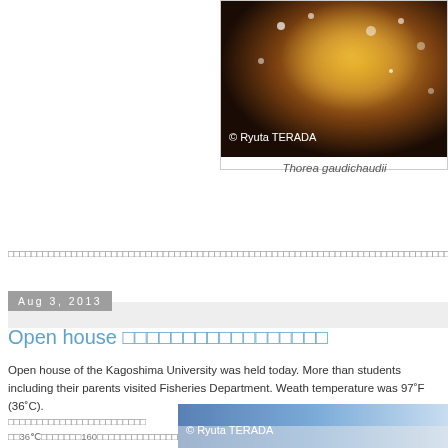[Figure (photo): Close-up photograph of Thorea gaudichaudii, a reddish-gold algae specimen, with sparkle/bokeh effects. Credit: © Ryuta TERADA]
Thorea gaudichaudii
[Japanese text - blog post continuation]
Aug 3, 2013
Open house [Japanese characters]
Open house of the Kagoshima University was held today. More than students including their parents visited Fisheries Department. Weather temperature was 97˚F (36˚C).
[Japanese text] 36℃ [Japanese text] 160 [Japanese text]
[Figure (photo): Photograph of indoor facility, credit © Ryuta TERADA]